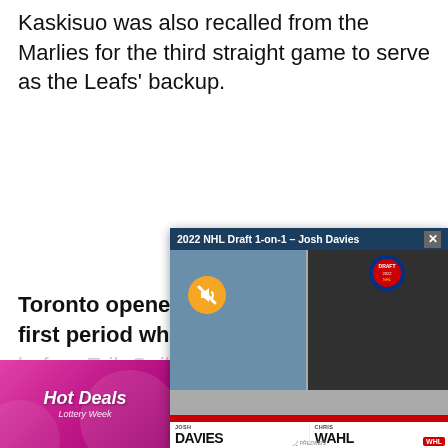Kaskisuo was also recalled from the Marlies for the third straight game to serve as the Leafs' backup.
[Figure (screenshot): Video overlay panel titled '2022 NHL Draft 1-on-1 – Josh Davies' showing two people in a split-screen video call with an NHL Draft logo, a mute button, and a bottom bar with names 'DAVIES' and 'WAHL']
[Figure (photo): Hot Deals advertisement with pink/magenta background and 'Hot Deals' text in white italic]
Toronto opened the scoring in the first period when Tav... ...before...Erik Guill...